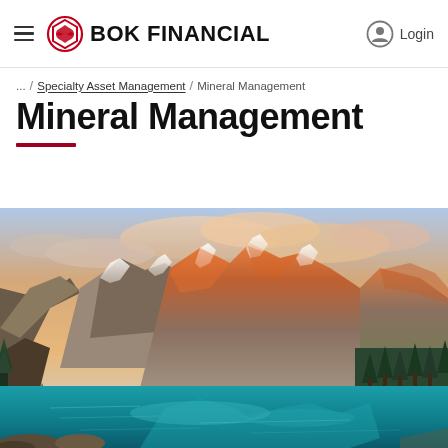BOK FINANCIAL — Login
... / Specialty Asset Management / Mineral Management
Mineral Management
[Figure (photo): Scenic mountain lake landscape at sunset with snow-capped peaks, turquoise water, and evergreen trees — Moraine Lake, Banff National Park style vista used as hero image for the Mineral Management page.]